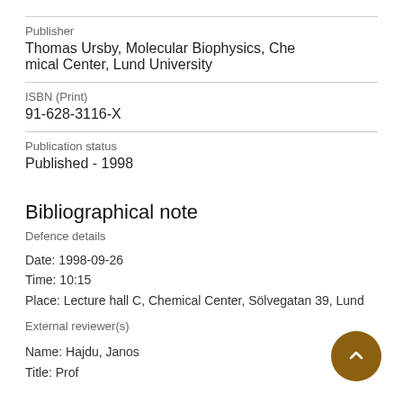Publisher
Thomas Ursby, Molecular Biophysics, Chemical Center, Lund University
ISBN (Print)
91-628-3116-X
Publication status
Published - 1998
Bibliographical note
Defence details
Date: 1998-09-26
Time: 10:15
Place: Lecture hall C, Chemical Center, Sölvegatan 39, Lund
External reviewer(s)
Name: Hajdu, Janos
Title: Prof...